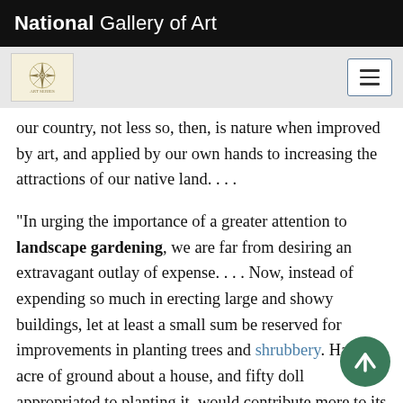National Gallery of Art
our country, not less so, then, is nature when improved by art, and applied by our own hands to increasing the attractions of our native land. . . .
“In urging the importance of a greater attention to landscape gardening, we are far from desiring an extravagant outlay of expense. . . . Now, instead of expending so much in erecting large and showy buildings, let at least a small sum be reserved for improvements in planting trees and shrubbery. Half an acre of ground about a house, and fifty doll appropriated to planting it, would contribute more to its appearance, than two thousand dollars